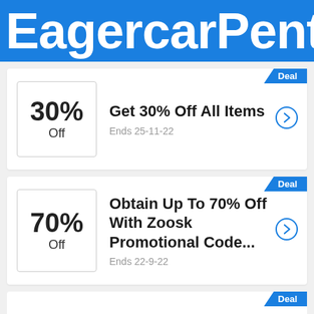EagercarPent
Deal
30% Off
Get 30% Off All Items
Ends 25-11-22
Deal
70% Off
Obtain Up To 70% Off With Zoosk Promotional Code...
Ends 22-9-22
Deal